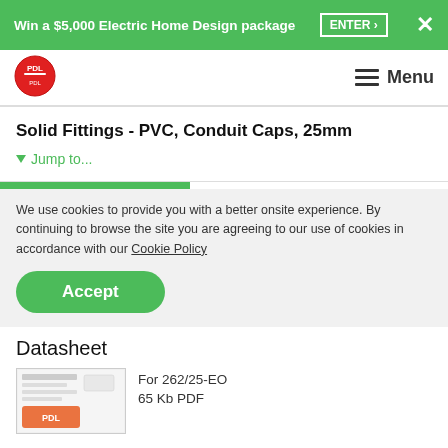Win a $5,000 Electric Home Design package  ENTER >  ×
[Figure (logo): PDL red circular logo with white PDL text]
Menu
Solid Fittings - PVC, Conduit Caps, 25mm
▼ Jump to...
We use cookies to provide you with a better onsite experience. By continuing to browse the site you are agreeing to our use of cookies in accordance with our Cookie Policy
Accept
Datasheet
For 262/25-EO
65 Kb PDF